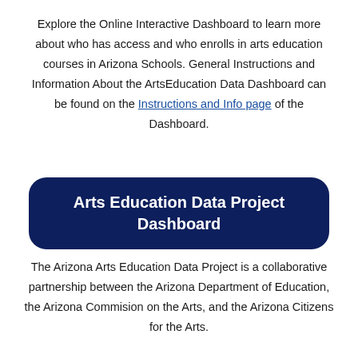Explore the Online Interactive Dashboard to learn more about who has access and who enrolls in arts education courses in Arizona Schools. General Instructions and Information About the ArtsEducation Data Dashboard can be found on the Instructions and Info page of the Dashboard.
Arts Education Data Project Dashboard
The Arizona Arts Education Data Project is a collaborative partnership between the Arizona Department of Education, the Arizona Commision on the Arts, and the Arizona Citizens for the Arts.